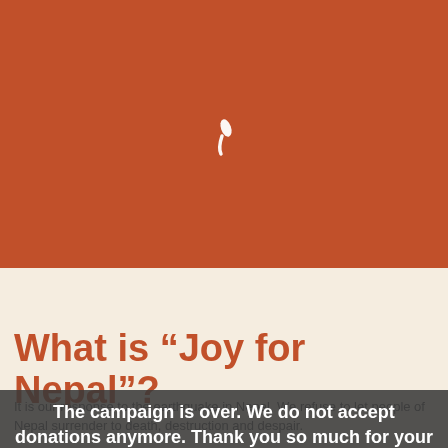[Figure (illustration): Terracotta/burnt orange colored background with a small white comma/apostrophe shape near the top center]
What is “Joy for Nepal”?
It is our response to the earthquake in Nepal. We refuse to let people of Nepal surrender to death, destruction and despair.
The campaign is over. We do not accept donations anymore. Thank you so much for your support!